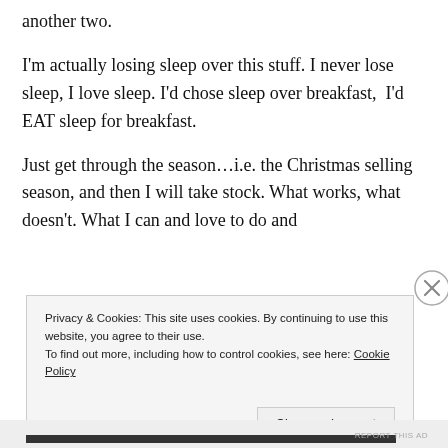another two.
I'm actually losing sleep over this stuff. I never lose sleep, I love sleep. I'd chose sleep over breakfast,  I'd EAT sleep for breakfast.
Just get through the season…i.e. the Christmas selling season, and then I will take stock. What works, what doesn't. What I can and love to do and
Privacy & Cookies: This site uses cookies. By continuing to use this website, you agree to their use.
To find out more, including how to control cookies, see here: Cookie Policy
Close and accept